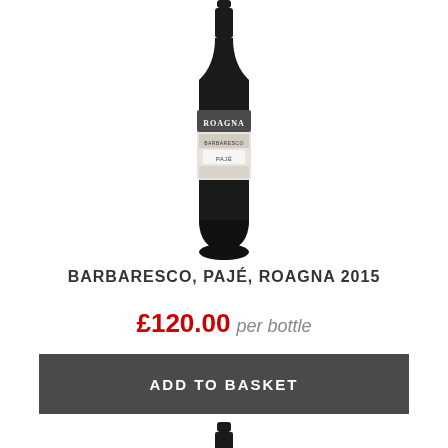[Figure (photo): Wine bottle with ROAGNA BARBARESCO PAJÉ label, dark glass bottle photographed against white background, top portion visible]
BARBARESCO, PAJÉ, ROAGNA 2015
£120.00 per bottle
ADD TO BASKET
[Figure (photo): Wine bottle, dark glass, top portion (neck and capsule) visible, cropped at bottom of page]